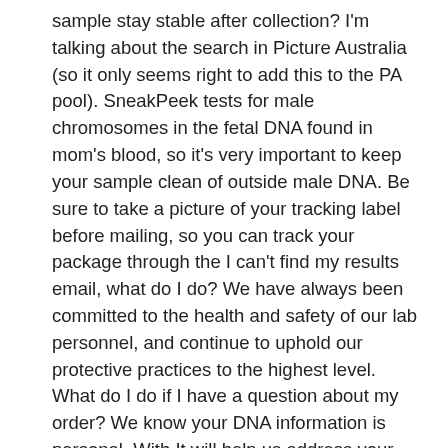sample stay stable after collection? I'm talking about the search in Picture Australia (so it only seems right to add this to the PA pool). SneakPeek tests for male chromosomes in the fetal DNA found in mom's blood, so it's very important to keep your sample clean of outside male DNA. Be sure to take a picture of your tracking label before mailing, so you can track your package through the I can't find my results email, what do I do? We have always been committed to the health and safety of our lab personnel, and continue to uphold our protective practices to the highest level. What do I do if I have a question about my order? We know your DNA information is personal. With It will help us address your question faster! Does taking progesterone or other hormones affect my results? Using a small sample of mom's blood, SneakPeek tests for the presence of male DNA (Y chromosomes). If you prefer to go to participating OB/GYNs or ultrasound clinics to have a